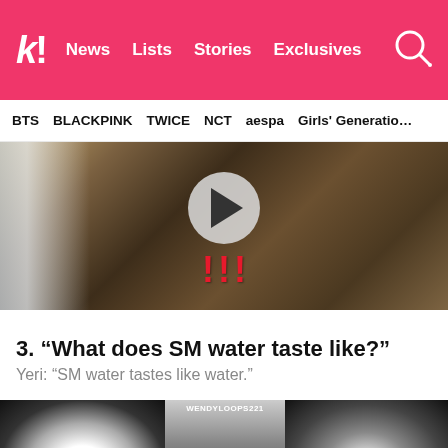k! News  Lists  Stories  Exclusives
BTS  BLACKPINK  TWICE  NCT  aespa  Girls' Generation
[Figure (screenshot): Video thumbnail showing a rocky/splashing water scene with a circular play button overlay and three red exclamation marks (!!!) at the bottom center]
3. “What does SM water taste like?”
Yeri: “SM water tastes like water.”
[Figure (screenshot): Bottom portion of a video screenshot with WENDYLOOPS221 watermark, showing dark silhouettes resembling cat ears on the sides and a lighter center section]